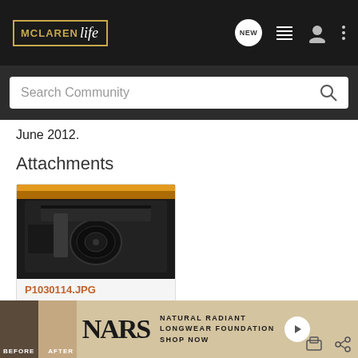McLaren Life - Search Community
June 2012.
Attachments
[Figure (photo): Car interior photo showing a speaker/subwoofer mounted in a dark carbon fiber panel with an orange-lit accent. File: P1030114.JPG, 126.8 KB, Views: 186]
P1030114.JPG
126.8 KB    Views: 186
------------------------------------------------------------------------
Current :
[Figure (photo): NARS Natural Radiant Longwear Foundation advertisement showing before/after model comparison]